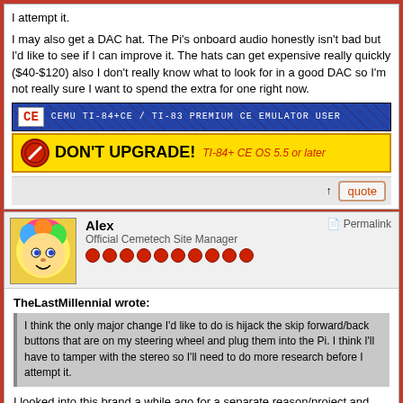I attempt it.
I may also get a DAC hat. The Pi's onboard audio honestly isn't bad but I'd like to see if I can improve it. The hats can get expensive really quickly ($40-$120) also I don't really know what to look for in a good DAC so I'm not really sure I want to spend the extra for one right now.
[Figure (screenshot): Blue banner: CE icon with text 'CEMU TI-84+CE / TI-83 PREMIUM CE EMULATOR USER']
[Figure (screenshot): Yellow banner with red N icon: DON'T UPGRADE! TI-84+ CE OS 5.5 or later]
↑   quote
Alex
Official Cemetech Site Manager
TheLastMillennial wrote:
I think the only major change I'd like to do is hijack the skip forward/back buttons that are on my steering wheel and plug them into the Pi. I think I'll have to tamper with the stereo so I'll need to do more research before I attempt it.
I looked into this brand a while ago for a separate reason/project and found this adapter. Not sure if it'll work for your project but could maybe put you down an already forged DIY path.
https://www.crutchfield.com/S-flcOqNUYKfv/p_794ADSMSWiDatalink-Maestro-SW-Steering-Wheel-Control-Adapter.html